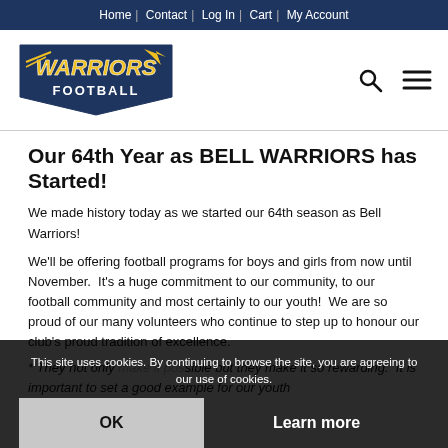Home | Contact | Log In | Cart | My Account
[Figure (logo): Warriors Football logo with yellow stylized text and blue outline]
Our 64th Year as BELL WARRIORS has Started!
We made history today as we started our 64th season as Bell Warriors!
We'll be offering football programs for boys and girls from now until November.  It's a huge commitment to our community, to our football community and most certainly to our youth!  We are so proud of our many volunteers who continue to step up to honour our club's proud tradition of excellence.
* They not only make it possible but they make it so rewarding.  It is important to set a good example for our youth
This site uses cookies. By continuing to browse the site, you are agreeing to our use of cookies.